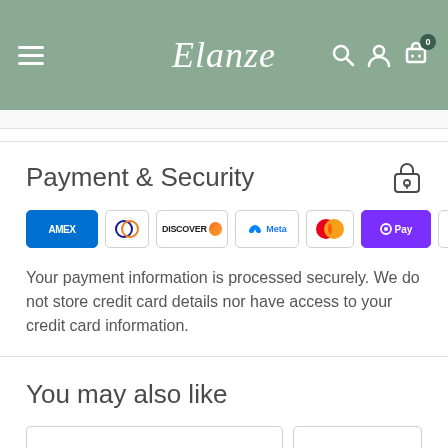Elanze
Payment & Security
[Figure (other): Payment method icons: AMEX, Diners Club, Discover, Meta Pay, Mastercard, OPay, Visa]
Your payment information is processed securely. We do not store credit card details nor have access to your credit card information.
You may also like